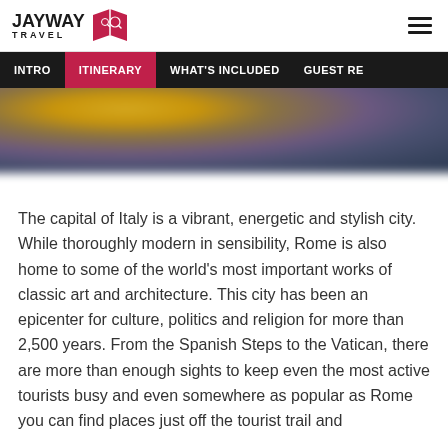JayWay Travel
[Figure (illustration): Navigation bar with menu items: INTRO, ITINERARY (active/highlighted in red), WHAT'S INCLUDED, GUEST RE...]
[Figure (photo): Blurred background hero image with warm golden and purple bokeh tones]
The capital of Italy is a vibrant, energetic and stylish city. While thoroughly modern in sensibility, Rome is also home to some of the world's most important works of classic art and architecture. This city has been an epicenter for culture, politics and religion for more than 2,500 years. From the Spanish Steps to the Vatican, there are more than enough sights to keep even the most active tourists busy and even somewhere as popular as Rome you can find places just off the tourist trail and